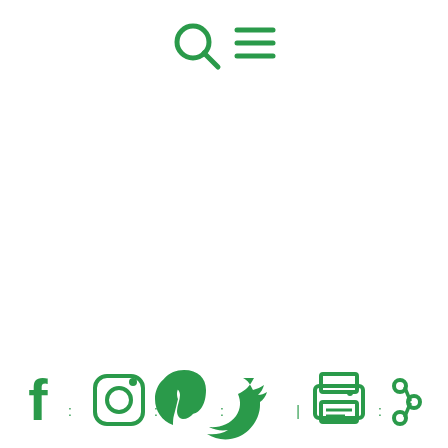[Figure (screenshot): Website navigation header with search icon (magnifying glass) and hamburger menu icon in green, on white background]
[Figure (screenshot): Social media sharing toolbar at the bottom with green icons: Facebook, Instagram, Pinterest, Twitter, Print, and Share icons, with small dots between them]